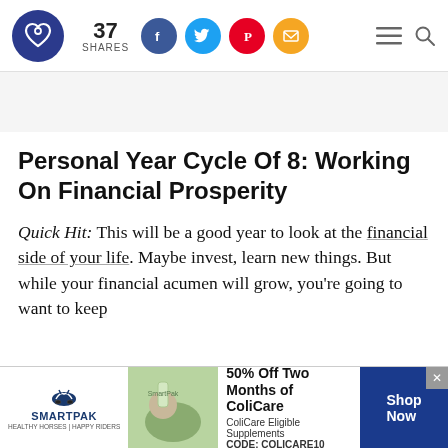37 SHARES [social share buttons: Facebook, Twitter, Pinterest, Email]
Personal Year Cycle Of 8: Working On Financial Prosperity
Quick Hit: This will be a good year to look at the financial side of your life. Maybe invest, learn new things. But while your financial acumen will grow, you're going to want to keep
[Figure (advertisement): SmartPak advertisement: 50% Off Two Months of ColiCare. ColiCare Eligible Supplements CODE: COLICARE10. Shop Now button.]